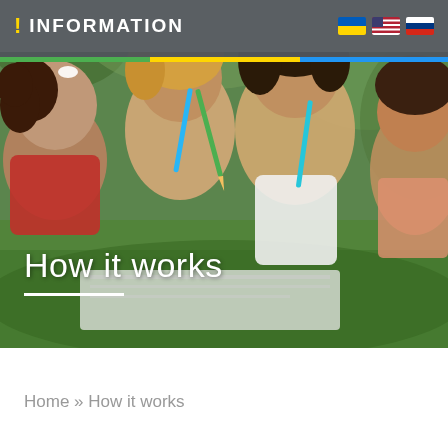! INFORMATION
[Figure (photo): Children lying on grass writing in notebooks with colored pencils outdoors]
How it works
Home » How it works